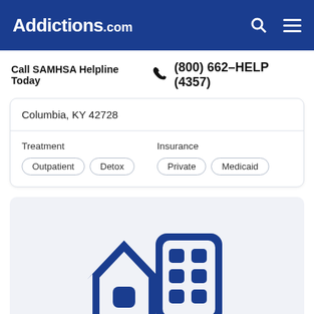Addictions.com
Call SAMHSA Helpline Today  (800) 662-HELP (4357)
Columbia, KY 42728
Treatment   Outpatient  Detox   Insurance   Private  Medicaid
[Figure (illustration): Blue icon of a house and a multi-story building side by side, representing a rehabilitation or treatment facility]